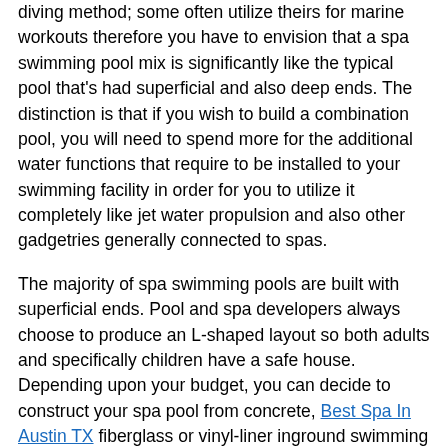diving method; some often utilize theirs for marine workouts therefore you have to envision that a spa swimming pool mix is significantly like the typical pool that's had superficial and also deep ends. The distinction is that if you wish to build a combination pool, you will need to spend more for the additional water functions that require to be installed to your swimming facility in order for you to utilize it completely like jet water propulsion and also other gadgetries generally connected to spas.
The majority of spa swimming pools are built with superficial ends. Pool and spa developers always choose to produce an L-shaped layout so both adults and specifically children have a safe house. Depending upon your budget, you can decide to construct your spa pool from concrete, Best Spa In Austin TX fiberglass or vinyl-liner inground swimming facility.
Concrete spa swimming pools are one of the most typical and favored since they can be tailored in regard to a clients certain wishes and also needs. Concrete pools are very resistant to very high temperature level. Is the very best water facility design for locations with expansive dirt. This kind of spa swimming pool is built in stages, so if you picked to develop one anticipate it to be finished in 12-16 weeks.
If you are on a minimal spending plan, you may select a fiberglass spa swimming pool that is factory-manufactured and can be set up